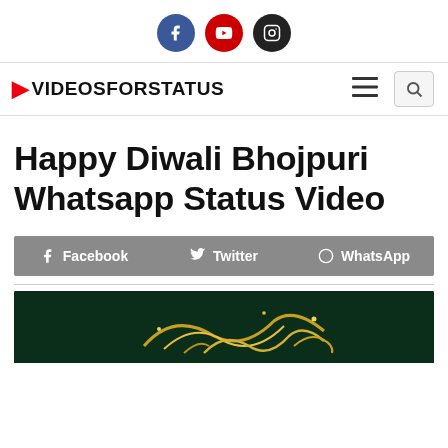Social icons: Facebook, YouTube, Instagram
VIDEOSFORSTATUS — navigation bar with hamburger menu and search
Happy Diwali Bhojpuri Whatsapp Status Video
Facebook  Twitter  WhatsApp
[Figure (photo): Partial view of a Diwali themed video thumbnail with dark green background and decorative Diwali script/calligraphy art in gold and yellow]